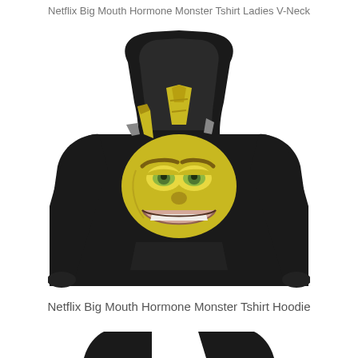Netflix Big Mouth Hormone Monster Tshirt Ladies V-Neck
[Figure (photo): Black hoodie sweatshirt with a cartoon Hormone Monster face graphic from Netflix Big Mouth on the chest. The character has a yellow/green face, horns, heavy eyebrows, half-lidded eyes, and a wide smiling mouth with teeth.]
Netflix Big Mouth Hormone Monster Tshirt Hoodie
[Figure (photo): Partial view of another black garment at the bottom of the page, partially cut off.]